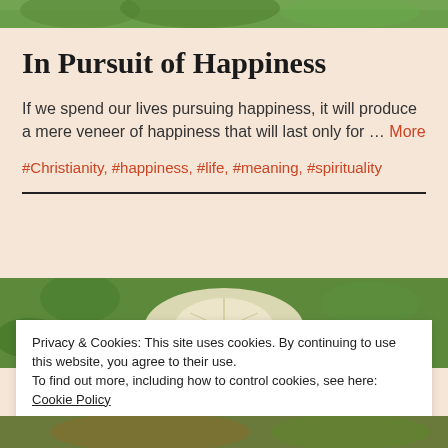[Figure (photo): Green nature/plant background image at the top of the page]
In Pursuit of Happiness
If we spend our lives pursuing happiness, it will produce a mere veneer of happiness that will last only for … More
#Christianity, #happiness, #life, #meaning, #spirituality
[Figure (photo): Close-up green plant/dandelion nature photo]
Privacy & Cookies: This site uses cookies. By continuing to use this website, you agree to their use.
To find out more, including how to control cookies, see here: Cookie Policy
Close and accept